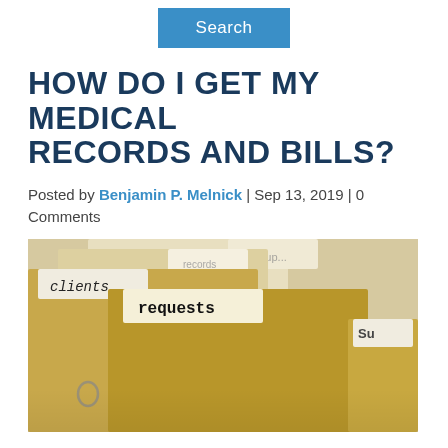Search
HOW DO I GET MY MEDICAL RECORDS AND BILLS?
Posted by Benjamin P. Melnick | Sep 13, 2019 | 0 Comments
[Figure (photo): Photo of manila file folders with tabs labeled 'clients', 'requests', and 'Su' (partially visible), in a file cabinet drawer.]